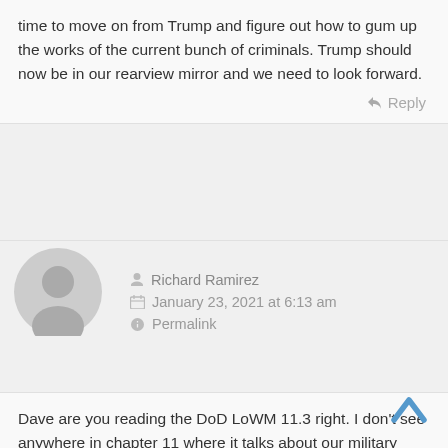time to move on from Trump and figure out how to gum up the works of the current bunch of criminals. Trump should now be in our rearview mirror and we need to look forward.
Reply
[Figure (illustration): Generic grey avatar/profile icon showing a person silhouette]
Richard Ramirez
January 23, 2021 at 6:13 am
Permalink
Dave are you reading the DoD LoWM 11.3 right. I don't see anywhere in chapter 11 where it talks about our military taking back control of the country if it is taken over by our enemies from within. It all looks like a bunch of rules governing